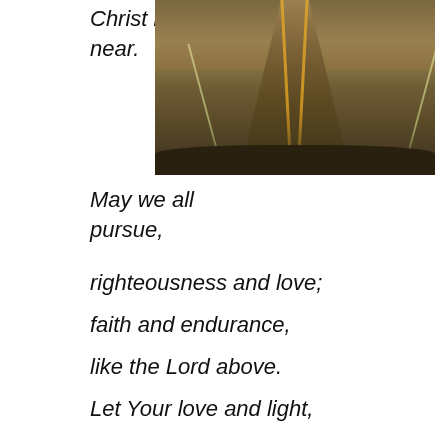Christ is near.
[Figure (photo): A photo taken from inside a vehicle looking forward down a road at dusk or dawn, with a warm amber/golden hue. Double yellow center lines are visible on the road, and the dashboard silhouette appears at the bottom of the frame.]
May we all pursue,
righteousness and love;
faith and endurance,
like the Lord above.
Let Your love and light,
in truth shine through us;
as we pursue You,